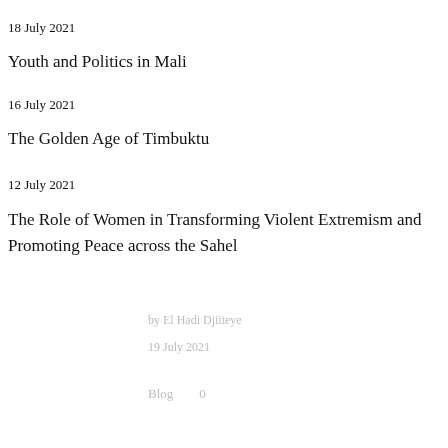18 July 2021
Youth and Politics in Mali
16 July 2021
The Golden Age of Timbuktu
12 July 2021
The Role of Women in Transforming Violent Extremism and Promoting Peace across the Sahel
by El Hadi Djiiteye
19 July 2021
Blog   0